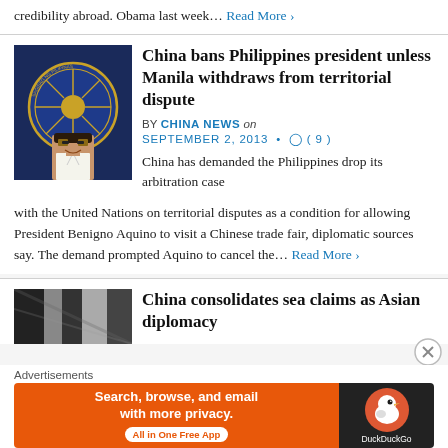credibility abroad. Obama last week… Read More ›
China bans Philippines president unless Manila withdraws from territorial dispute
BY CHINA NEWS on SEPTEMBER 2, 2013 • ( 9 )
[Figure (photo): Photo of Philippines president in front of official seal]
China has demanded the Philippines drop its arbitration case with the United Nations on territorial disputes as a condition for allowing President Benigno Aquino to visit a Chinese trade fair, diplomatic sources say. The demand prompted Aquino to cancel the… Read More ›
China consolidates sea claims as Asian diplomacy
[Figure (photo): Partial thumbnail image for second article]
Advertisements
[Figure (infographic): DuckDuckGo advertisement banner: Search, browse, and email with more privacy. All in One Free App]